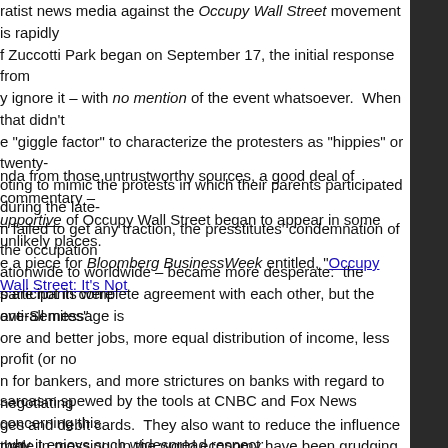ratist news media against the Occupy Wall Street movement is rapidly f Zuccotti Park began on September 17, the initial response from y ignore it – with no mention of the event whatsoever. When that didn't e "giggle factor" to characterize the protesters as "hippies" or twenty- oting to mimic the protests in which their parents participated during the late- n failed to get any traction, the presstitutes' condemnation of the occupation ationwide to worldwide – became more desperate: the participants were anti-Semites".
nda from those untrustworthy sources, a good deal of commentary – upportive of Occupy Wall Street began to appear in some unlikely places. e a piece for Bloomberg BusinessWeek entitled, "Occupy Wall Street: It's Not
s are not in complete agreement with each other, but the overall message is ore and better jobs, more equal distribution of income, less profit (or no n for bankers, and more strictures on banks with regard to negotiating ges and debit cards. They also want to reduce the influence that icular – wield in politics, and they want a more populist set of government rs and mortgage holders, not just for banks.
sarcasm spewed by the tools at CNBC and Fox News concerning this why it enjoys such widespread respect:
r role in messing up the world economy have been grudging and late, and